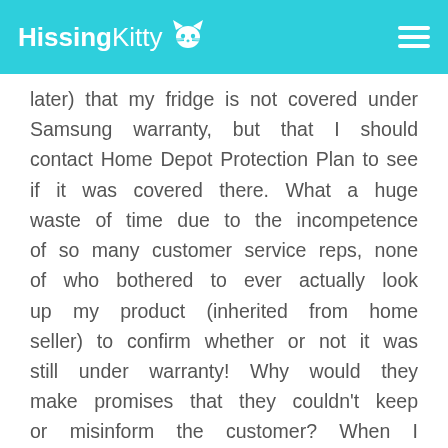HissingKitty
later) that my fridge is not covered under Samsung warranty, but that I should contact Home Depot Protection Plan to see if it was covered there. What a huge waste of time due to the incompetence of so many customer service reps, none of who bothered to ever actually look up my product (inherited from home seller) to confirm whether or not it was still under warranty! Why would they make promises that they couldn't keep or misinform the customer? When I attempted to get a refund from Samsung for the $99 I paid for the independent service guy, they said no. They said no a lot or for disclaimer...